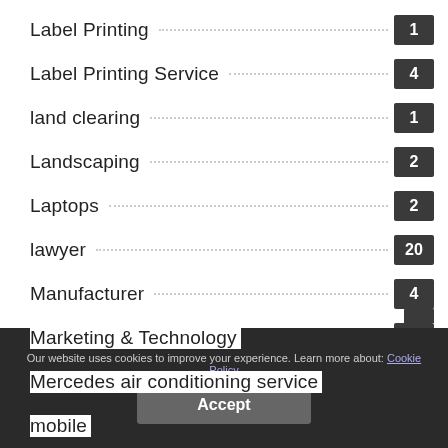Label Printing 1
Label Printing Service 4
land clearing 1
Landscaping 2
Laptops 2
lawyer 20
Manufacturer 4
Marketing & Technology 5
Mercedes air conditioning service 1
mobile 5
Our website uses cookies to improve your experience. Learn more about: Cookie Policy
Accept